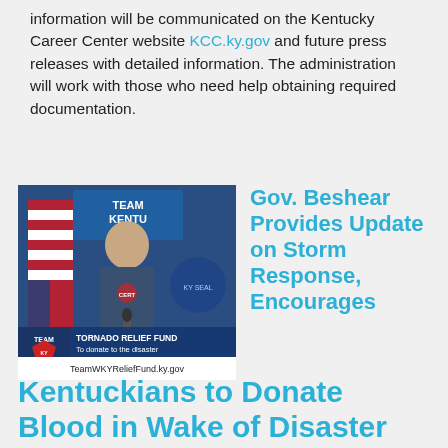information will be communicated on the Kentucky Career Center website KCC.ky.gov and future press releases with detailed information. The administration will work with those who need help obtaining required documentation.
[Figure (photo): Photo of Gov. Beshear speaking at a Team Kentucky podium, with a lower-third graphic showing TORNADO RELIEF FUND information: 'To donate to the disaster relief fund visit: TeamWKYReliefFund.ky.gov']
Gov. Beshear Provides Update on Storm Response, Encourages Kentuckians to Donate Blood in Wake of Disaster